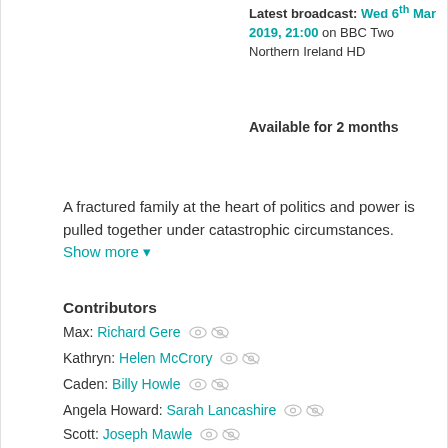Latest broadcast: Wed 6th Mar 2019, 21:00 on BBC Two Northern Ireland HD
Available for 2 months
A fractured family at the heart of politics and power is pulled together under catastrophic circumstances. Show more
Contributors
Max: Richard Gere
Kathryn: Helen McCrory
Caden: Billy Howle
Angela Howard: Sarah Lancashire
Lauren: Pippa Bennett-Warner
Maggie: Sinead Cusack
Scott: Joseph Mawle